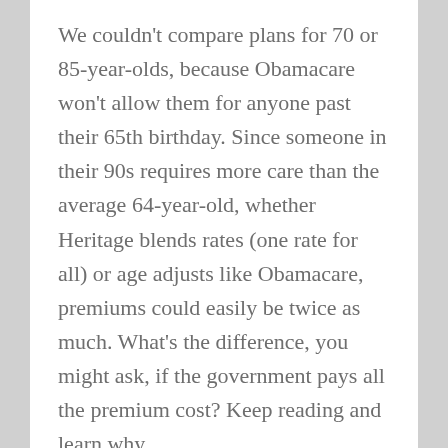We couldn't compare plans for 70 or 85-year-olds, because Obamacare won't allow them for anyone past their 65th birthday. Since someone in their 90s requires more care than the average 64-year-old, whether Heritage blends rates (one rate for all) or age adjusts like Obamacare, premiums could easily be twice as much. What's the difference, you might ask, if the government pays all the premium cost? Keep reading and learn why.
The cheapest (Bronze) Obamacare plan in Montgomery County, PA this morning was $533 a month for a single person, or $6,396 a year. Under the Heritage plan for Medicare this seems like a likely low-ball comparison – many co-pays, no